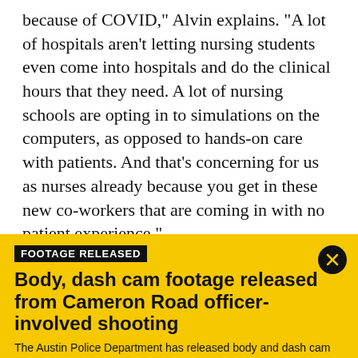because of COVID," Alvin explains. "A lot of hospitals aren't letting nursing students even come into hospitals and do the clinical hours that they need. A lot of nursing schools are opting in to simulations on the computers, as opposed to hands-on care with patients. And that's concerning for us as nurses already because you get in these new co-workers that are coming in with no patient experience."
How have nursing schools and
FOOTAGE RELEASED
Body, dash cam footage released from Cameron Road officer-involved shooting
The Austin Police Department has released body and dash cam video from an officer-involved shooting in Northeast Austin earlier this month.